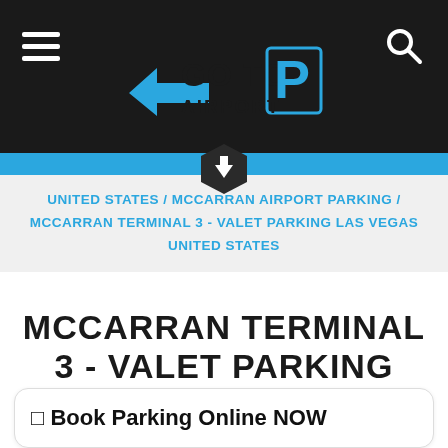GO TO AIRPORT
UNITED STATES / MCCARRAN AIRPORT PARKING / MCCARRAN TERMINAL 3 - VALET PARKING LAS VEGAS UNITED STATES
MCCARRAN TERMINAL 3 - VALET PARKING
☐ Book Parking Online NOW